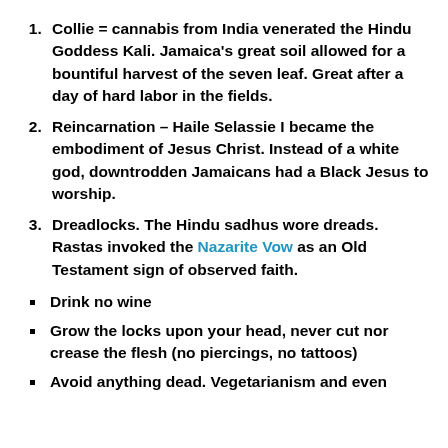Collie = cannabis from India venerated the Hindu Goddess Kali. Jamaica's great soil allowed for a bountiful harvest of the seven leaf. Great after a day of hard labor in the fields.
Reincarnation – Haile Selassie I became the embodiment of Jesus Christ. Instead of a white god, downtrodden Jamaicans had a Black Jesus to worship.
Dreadlocks. The Hindu sadhus wore dreads. Rastas invoked the Nazarite Vow as an Old Testament sign of observed faith.
Drink no wine
Grow the locks upon your head, never cut nor crease the flesh (no piercings, no tattoos)
Avoid anything dead. Vegetarianism and even